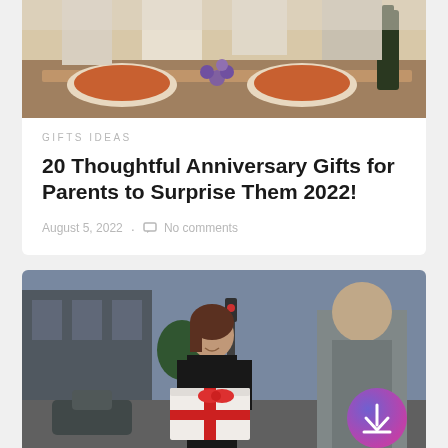[Figure (photo): Dining table scene with people, pizza, grapes, and wine bottle]
GIFTS IDEAS
20 Thoughtful Anniversary Gifts for Parents to Surprise Them 2022!
August 5, 2022 · No comments
[Figure (photo): Woman smiling and handing a gift box with red ribbon to a man on a city street, with a purple/pink gradient download button overlay]